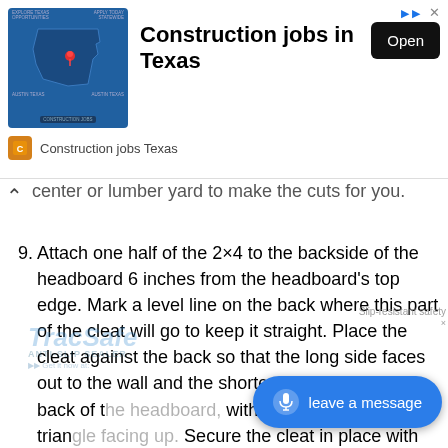[Figure (screenshot): Advertisement banner for 'Construction jobs in Texas' with a Texas map graphic, Open button, and 'Construction jobs Texas' branding]
...alternatively, you can ask the pros at your home center or lumber yard to make the cuts for you.
9. Attach one half of the 2×4 to the backside of the headboard 6 inches from the headboard's top edge. Mark a level line on the back where this part of the cleat will go to keep it straight. Place the cleat against the back so that the long side faces out to the wall and the shorter edge is against the back of the headboard, with the point of the triangle facing up. Secure the cleat in place with wood glue and